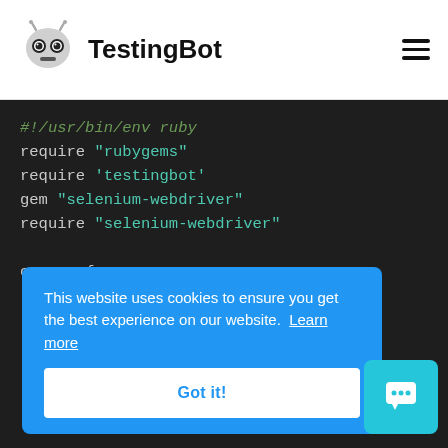TestingBot
[Figure (screenshot): Code block showing Ruby script with TestingBot/Selenium WebDriver setup including require statements, caps hash with browserName firefox, version latest, platform WINDOWS, and proxy settings]
This website uses cookies to ensure you get the best experience on our website. Learn more
Got it!